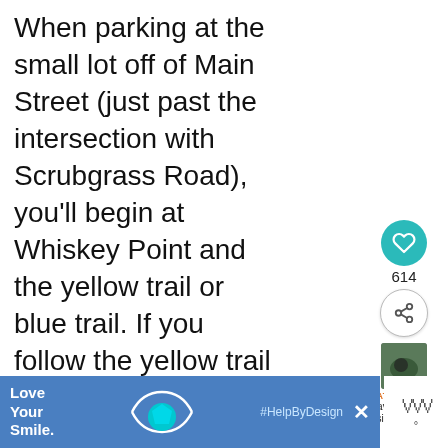When parking at the small lot off of Main Street (just past the intersection with Scrubgrass Road), you'll begin at Whiskey Point and the yellow trail or blue trail. If you follow the yellow trail it later splits into red, green, and white trails which connect u each other on the
[Figure (other): Social sidebar with heart/like button showing 614 likes, share button, and a 'What's Next' thumbnail with label 'A Cave and Nike Missile...']
[Figure (other): Advertisement banner: 'Love Your Smile.' with a cyan tooth/smile graphic and #HelpByDesign hashtag on blue background, with close X button]